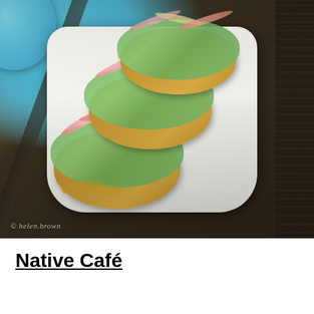[Figure (photo): Close-up food photograph of three crispy fried appetizers on a long white rectangular plate, topped with green avocado or herb mixture and garnished with thinly sliced radishes and fennel. A blue ceramic plate is visible at the top left, and dark wood grain surface is visible on the right. Watermark reads '© helen.brown' at bottom left of photo.]
Native Café